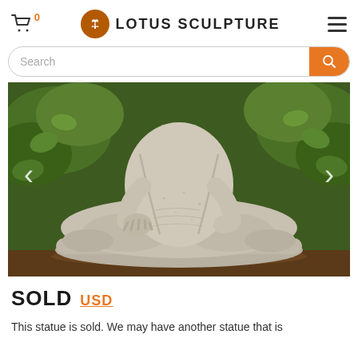0  LOTUS SCULPTURE  ☰
Search
[Figure (photo): Close-up photo of a stone Buddha statue seated in lotus position, showing the torso and legs. The statue is made of weathered granite/stone, with detailed carved robes and a decorative lotus base. Green foliage visible in background. Navigation arrows visible on left and right sides of image.]
SOLD USD
This statue is sold. We may have another statue that is